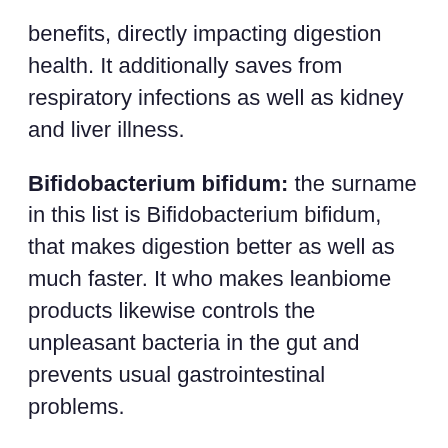benefits, directly impacting digestion health. It additionally saves from respiratory infections as well as kidney and liver illness.
Bifidobacterium bifidum: the surname in this list is Bifidobacterium bifidum, that makes digestion better as well as much faster. It who makes leanbiome products likewise controls the unpleasant bacteria in the gut and prevents usual gastrointestinal problems.
Inulin: This active ingredient is prebiotic, which manages bowel movements as well as help in digestion. Without inulin, problems such as windiness, irregularity, as well as level of acidity might show up, making food digestion awkward.